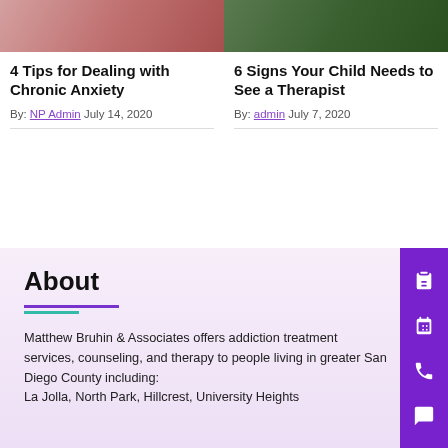[Figure (photo): Cropped photo of hands, pinkish skin tones, top of left article card]
4 Tips for Dealing with Chronic Anxiety
By: NP Admin  July 14, 2020
[Figure (photo): Cropped photo with green foliage tones, top of right article card]
6 Signs Your Child Needs to See a Therapist
By: admin  July 7, 2020
About
Matthew Bruhin & Associates offers addiction treatment services, counseling, and therapy to people living in greater San Diego County including: La Jolla, North Park, Hillcrest, University Heights